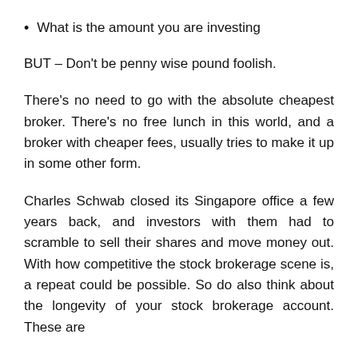What is the amount you are investing
BUT – Don't be penny wise pound foolish.
There's no need to go with the absolute cheapest broker. There's no free lunch in this world, and a broker with cheaper fees, usually tries to make it up in some other form.
Charles Schwab closed its Singapore office a few years back, and investors with them had to scramble to sell their shares and move money out. With how competitive the stock brokerage scene is, a repeat could be possible. So do also think about the longevity of your stock brokerage account. These are